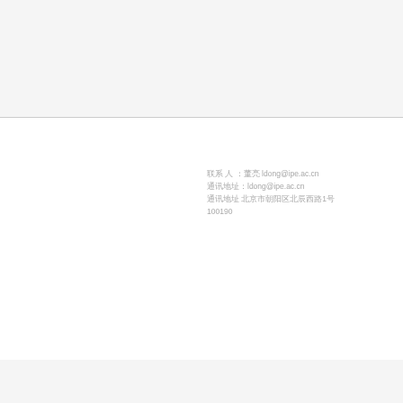联系人：董亮 ldong@ipe.ac.cn 通讯地址：北京市朝阳区北辰西路1号 100190